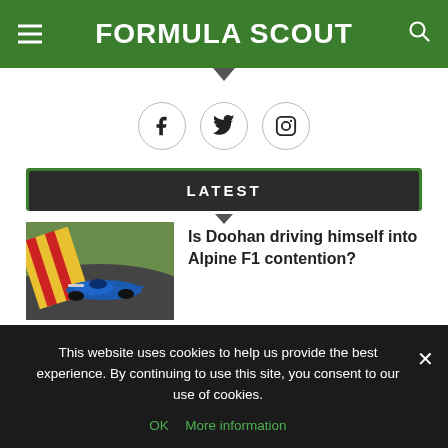FORMULA SCOUT
[Figure (other): Social media icons: Facebook, Twitter, Instagram in circular outlines]
LATEST
[Figure (photo): Blue Formula 2 or Formula 3 racing car on track with red and yellow kerbs]
Is Doohan driving himself into Alpine F1 contention?
This website uses cookies to help us provide the best experience. By continuing to use this site, you consent to our use of cookies.
OK   More information